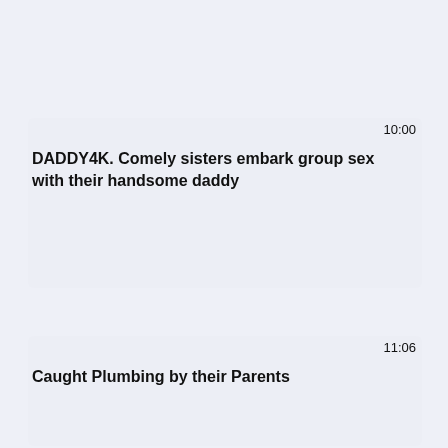10:00
DADDY4K. Comely sisters embark group sex with their handsome daddy
11:06
Caught Plumbing by their Parents